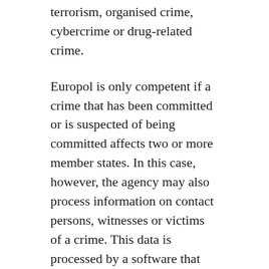terrorism, organised crime, cybercrime or drug-related crime.
Europol is only competent if a crime that has been committed or is suspected of being committed affects two or more member states. In this case, however, the agency may also process information on contact persons, witnesses or victims of a crime. This data is processed by a software that searches for so-called cross-matches. Europol hopes that this search for connections between crimes or perpetrators will lead to new investigative approaches. weiterlesen
01/03/2021 / AIDA, Airbus, Algorithms, Artificial Intelligence, Big Data, Data Loader, EDPS, EIS, ETIAS, EU Commission, eu-LISA, Europol, Frontex, Germany, GRACE, Horizon 2020, iBorderCtrl, INFINITY, Innovation Laboratory, INSIKT, Jürgen